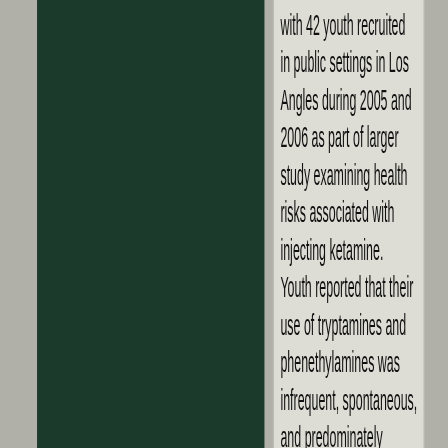[Figure (photo): Dark green/teal colored rectangular image block occupying the left portion of the page]
with 42 youth recruited in public settings in Los Angles during 2005 and 2006 as part of larger study examining health risks associated with injecting ketamine. Youth reported that their use of tryptamines and phenethylamines was infrequent, spontaneous, and predominately occurred at music venues, such as festivals, concerts, or raves. Several purchased a variety of these "research chemicals" from the Internet and used them in private locations. Whil...